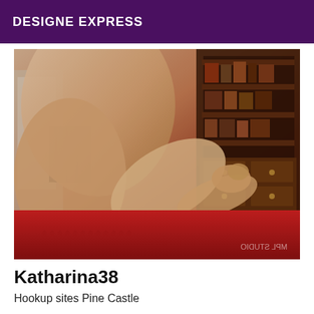DESIGNE EXPRESS
[Figure (photo): A posed artistic/glamour photograph of a person on a red surface with dark wood furniture in the background. Watermark reads 'MPL STUDIO' mirrored at bottom left.]
Katharina38
Hookup sites Pine Castle